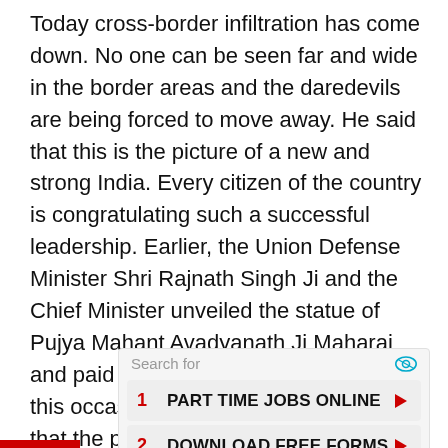Today cross-border infiltration has come down. No one can be seen far and wide in the border areas and the daredevils are being forced to move away. He said that this is the picture of a new and strong India. Every citizen of the country is congratulating such a successful leadership. Earlier, the Union Defense Minister Shri Rajnath Singh Ji and the Chief Minister unveiled the statue of Pujya Mahant Avadyanath Ji Maharaj and paid their humble tributes to him. On this occasion, the Defense Minister said that the personality of Pujya Mahant Avadyanath Ji Maharaj was wonderful. He was a proponent of peaceful coexistence and possessed of a spontaneous personality. Pujya
[Figure (other): Advertisement box with 'Search for' header and two list items: 1. PART TIME JOBS ONLINE, 2. DOWNLOAD FREE FORMS, with arrow buttons]